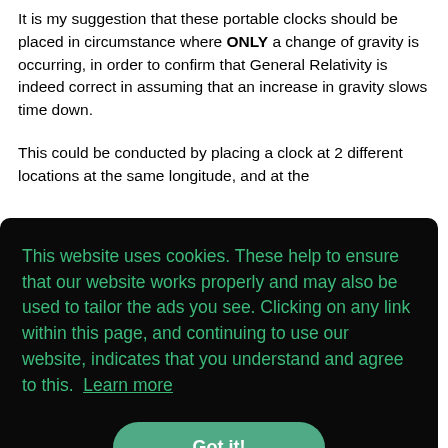It is my suggestion that these portable clocks should be placed in circumstance where ONLY a change of gravity is occurring, in order to confirm that General Relativity is indeed correct in assuming that an increase in gravity slows time down.
This could be conducted by placing a clock at 2 different locations at the same longitude, and at the same...
This website uses cookies. These help to ensure that our website works properly and may also be used to tailor the ads you see. Clicking on any link within this page, and continuing to use our website, indicates that you understand and agree to this. Learn more
Got it!
General Relativity predicts that a clock that